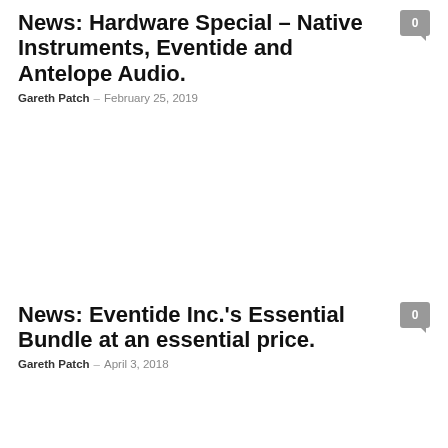News: Hardware Special – Native Instruments, Eventide and Antelope Audio.
Gareth Patch – February 25, 2019
[Figure (photo): Image placeholder for first article]
News: Eventide Inc.'s Essential Bundle at an essential price.
Gareth Patch – April 3, 2018